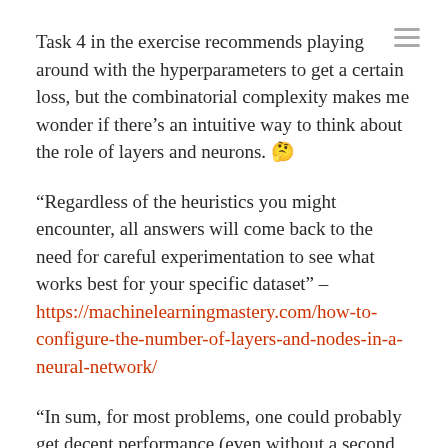Task 4 in the exercise recommends playing around with the hyperparameters to get a certain loss, but the combinatorial complexity makes me wonder if there's an intuitive way to think about the role of layers and neurons. 🤔
“Regardless of the heuristics you might encounter, all answers will come back to the need for careful experimentation to see what works best for your specific dataset” – https://machinelearningmastery.com/how-to-configure-the-number-of-layers-and-nodes-in-a-neural-network/
“In sum, for most problems, one could probably get decent performance (even without a second